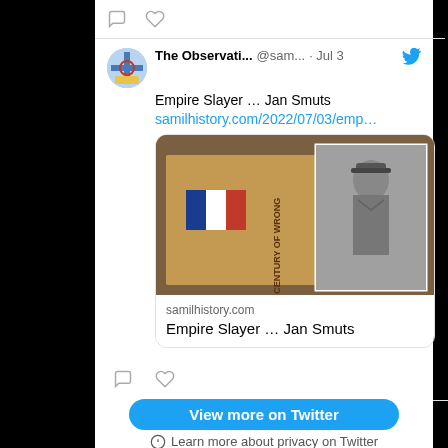[Figure (screenshot): Twitter/X embedded tweet screenshot showing a tweet from 'The Observati...' account (@sam...) dated Jul 3, about 'Empire Slayer ... Jan Smuts' with a link to samilhistory.com/2022/07/03/emp... and a preview card showing a book 'A Century of Wrong' and a photo of Jan Smuts in military uniform. Below the tweet are comment and like icons. At the bottom is a 'View more on Twitter' button and 'Learn about privacy on Twitter' text.]